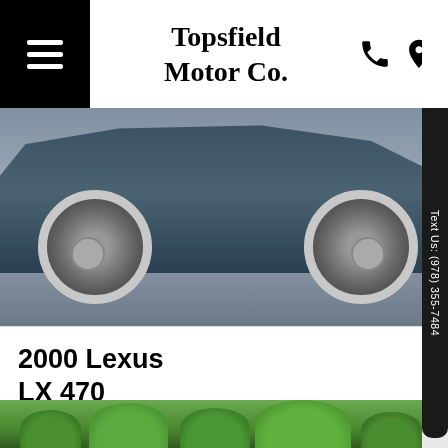Topsfield Motor Co.
[Figure (photo): Partial view of a dark blue SUV (Lexus LX 470) showing wheels and lower body on asphalt pavement]
2000 Lexus LX 470
Trim:
Stock: 3857
Odo: 87,503 mi.
VIN: JT6HT00W9Y0107260
$20,000
[Figure (photo): Partial view of trees and green foliage at the bottom of the page, likely another vehicle listing photo]